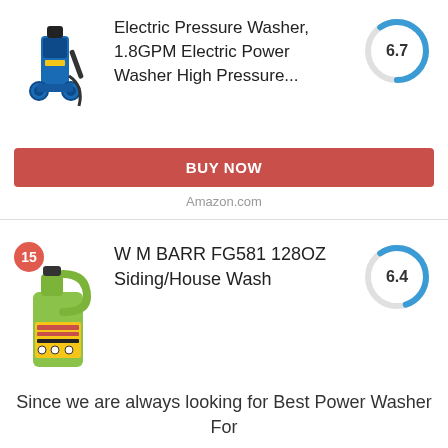[Figure (photo): Blue and black electric pressure washer product image]
Electric Pressure Washer, 1.8GPM Electric Power Washer High Pressure...
[Figure (donut-chart): Score gauge showing 6.7]
BUY NOW
Amazon.com
[Figure (photo): Green jug of W M BARR FG581 128OZ Siding/House Wash with badge number 15]
W M BARR FG581 128OZ Siding/House Wash
[Figure (donut-chart): Score gauge showing 6.4]
BUY NOW
Amazon.com
Since we are always looking for Best Power Washer For